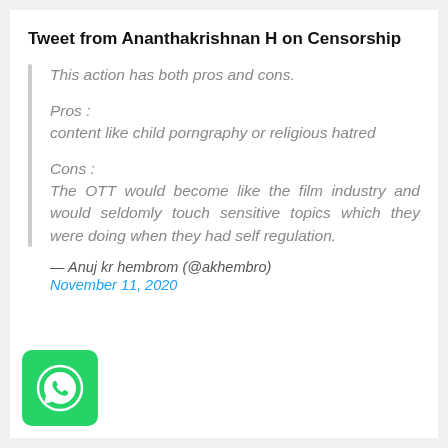Tweet from Ananthakrishnan H on Censorship
This action has both pros and cons.

Pros :
content like child porngraphy or religious hatred

Cons :
The OTT would become like the film industry and would seldomly touch sensitive topics which they were doing when they had self regulation.
— Anuj kr hembrom (@akhembro) November 11, 2020